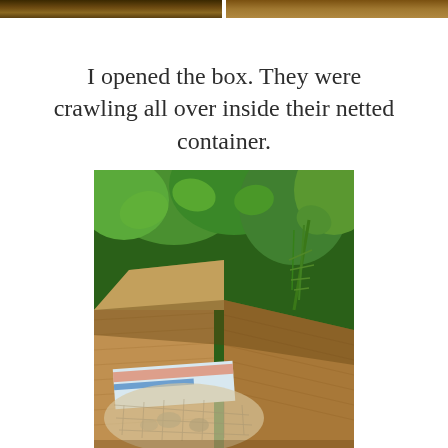[Figure (photo): Partial view of two photos at the very top of the page showing dark golden/brown tones, likely insects or natural subjects]
I opened the box. They were crawling all over inside their netted container.
[Figure (photo): An open cardboard box sitting outdoors among green herb plants (mint and rosemary visible in background). Inside the box is a netted mesh container with what appears to be insects crawling inside, along with some printed paperwork.]